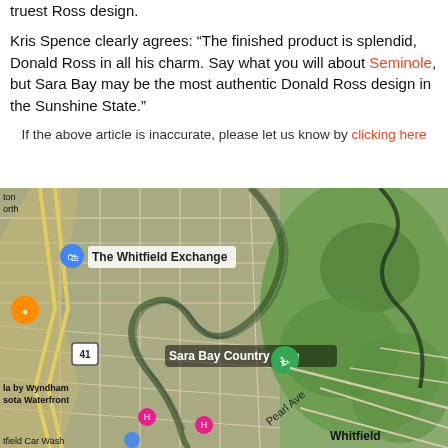truest Ross design.
Kris Spence clearly agrees: “The finished product is splendid, Donald Ross in all his charm. Say what you will about Seminole, but Sara Bay may be the most authentic Donald Ross design in the Sunshine State.”
If the above article is inaccurate, please let us know by clicking here
[Figure (map): Aerial/satellite map view showing Sara Bay Country Club area in Sarasota, Florida, with labels for The Whitfield Exchange, Sara Bay Country Club, Pearl Ave, Whitfield, Whitfield Car Wash, la by Wyndham sota Waterfront, Route 41, and map pins/markers.]